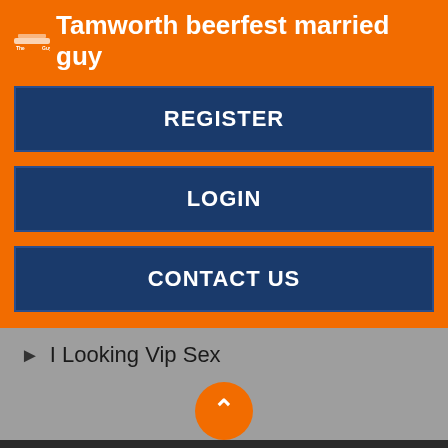Tamworth beerfest married guy
REGISTER
LOGIN
CONTACT US
I Looking Vip Sex
PEOPLE WAITING FOR MONEY, HELP AROUND THE HOUSE IS JUST FINE. NSA SEEKING FOR THAT JUST ONE. COPYRIGHT 2018
LOGIN